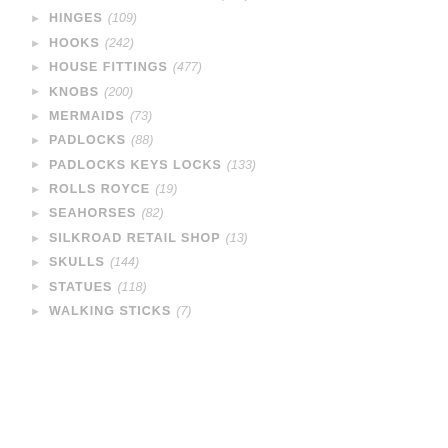HANDLES PULLS RINGS (207)
HINGES (109)
HOOKS (242)
HOUSE FITTINGS (477)
KNOBS (200)
MERMAIDS (73)
PADLOCKS (88)
PADLOCKS KEYS LOCKS (133)
ROLLS ROYCE (19)
SEAHORSES (82)
SILKROAD RETAIL SHOP (13)
SKULLS (144)
STATUES (118)
WALKING STICKS (7)